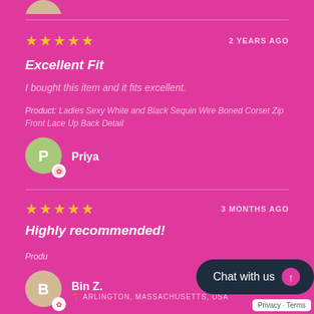[Figure (illustration): Partial avatar circle cropped at top of page]
★★★★★  2 YEARS AGO
Excellent Fit
I bought this item and it fits excellent.
Product: Ladies Sexy White and Black Sequin Wire Boned Corset Zip Front Lace Up Back Detail
Priya
★★★★★  3 MONTHS AGO
Highly recommended!
Product: Ladies Black Sexy Sheer Black Front Corset M…
Bin Z.
ARLINGTON, MASSACHUSETTS, USA